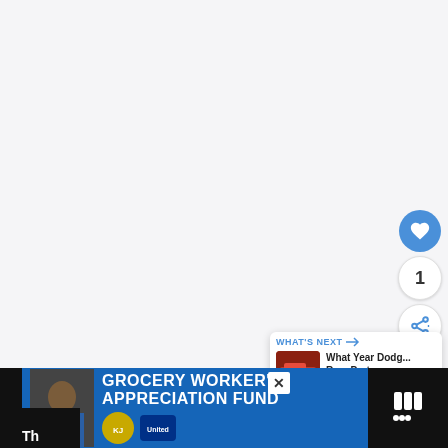[Figure (screenshot): Large white/light gray content area representing a web page main content region]
[Figure (screenshot): Social interaction buttons: heart/like button (blue circle with white heart), count bubble showing '1', and share button (white circle with share icon)]
[Figure (screenshot): WHAT'S NEXT panel with thumbnail of red truck and text 'What Year Dodg... Ram Parts are...']
[Figure (screenshot): Advertisement banner: GROCERY WORKER'S APPRECIATION FUND with Kendall Jackson and United Way logos, close button, and partial weather widget on right]